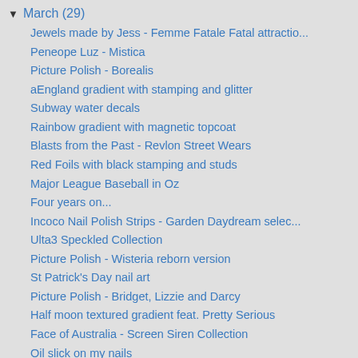▼ March (29)
Jewels made by Jess - Femme Fatale Fatal attractio...
Peneope Luz - Mistica
Picture Polish - Borealis
aEngland gradient with stamping and glitter
Subway water decals
Rainbow gradient with magnetic topcoat
Blasts from the Past - Revlon Street Wears
Red Foils with black stamping and studs
Major League Baseball in Oz
Four years on...
Incoco Nail Polish Strips - Garden Daydream selec...
Ulta3 Speckled Collection
Picture Polish - Wisteria reborn version
St Patrick's Day nail art
Picture Polish - Bridget, Lizzie and Darcy
Half moon textured gradient feat. Pretty Serious
Face of Australia - Screen Siren Collection
Oil slick on my nails
SuperChic Lacquer - The Gaslighted Collection